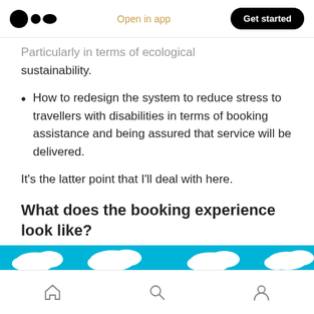Medium logo | Open in app | Get started
Particularly in terms of ecological sustainability.
How to redesign the system to reduce stress to travellers with disabilities in terms of booking assistance and being assured that service will be delivered.
It's the latter point that I'll deal with here.
What does the booking experience look like?
[Figure (photo): Partial image strip showing blue sky with white clouds at the bottom of the content area]
Navigation bar with home, search, and profile icons